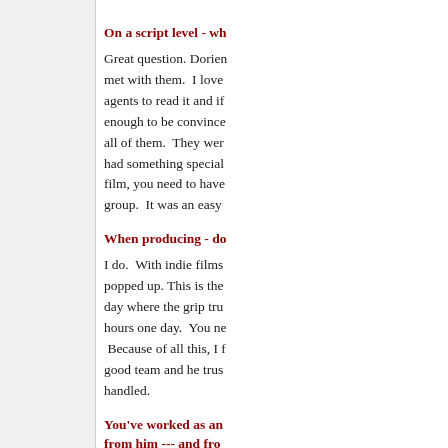On a script level - wh
Great question. Dorien met with them.  I love agents to read it and if enough to be convince all of them.  They wer had something special film, you need to have group.  It was an easy
When producing - do
I do.  With indie films popped up. This is the day where the grip tru hours one day.  You ne  Because of all this, I f good team and he trus handled.
You've worked as an from him --- and fro